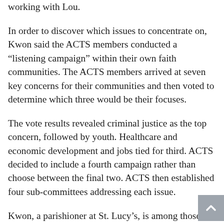In order to discover which issues to concentrate on, Kwon said the ACTS members conducted a “listening campaign” within their own faith communities. The ACTS members arrived at seven key concerns for their communities and then voted to determine which three would be their focuses.
The vote results revealed criminal justice as the top concern, followed by youth. Healthcare and economic development and jobs tied for third. ACTS decided to include a fourth campaign rather than choose between the final two. ACTS then established four sub-committees addressing each issue.
Kwon, a parishioner at St. Lucy’s, is among those credited with the more recent expansion of ACTS’ membership and influence. He said that his main